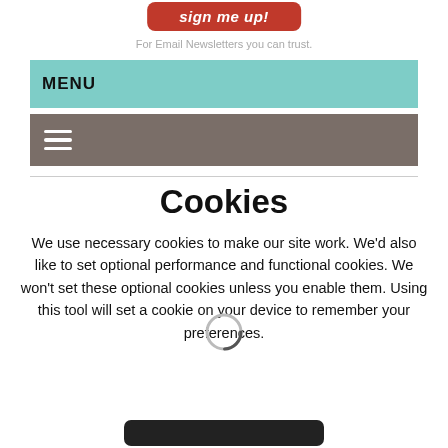[Figure (other): Red rounded button with italic text 'sign me up!']
For Email Newsletters you can trust.
MENU
[Figure (other): Gray-brown navigation bar with hamburger menu icon (three horizontal white lines)]
Cookies
We use necessary cookies to make our site work. We'd also like to set optional performance and functional cookies. We won't set these optional cookies unless you enable them. Using this tool will set a cookie on your device to remember your preferences.